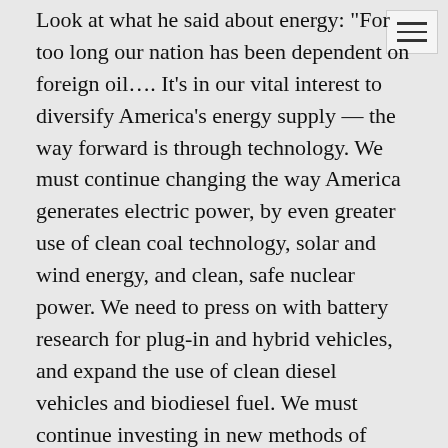Look at what he said about energy: "For too long our nation has been dependent on foreign oil.... It's in our vital interest to diversify America's energy supply — the way forward is through technology. We must continue changing the way America generates electric power, by even greater use of clean coal technology, solar and wind energy, and clean, safe nuclear power. We need to press on with battery research for plug-in and hybrid vehicles, and expand the use of clean diesel vehicles and biodiesel fuel. We must continue investing in new methods of producing ethanol — using everything from wood chips to grasses, to agricultural wastes."

If he were the CEO of an energy company that might sound appropriate. But he represents himself as a